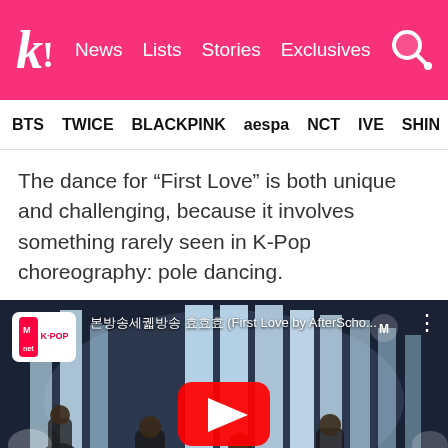k! News  Lists  Stories  Exclusives
BTS  TWICE  BLACKPINK  aespa  NCT  IVE  SHINE
The dance for “First Love” is both unique and challenging, because it involves something rarely seen in K-Pop choreography: pole dancing.
[Figure (screenshot): YouTube video embed showing AfterSchool performing First Love on Mnet K-POP Countdown, with a red YouTube play button in the center. The Mnet K-POP badge is visible in the top left, and the video title reads '(First Love by AfterScho...' The stage shows performers in black outfits against a backdrop of tall white illuminated columns.]